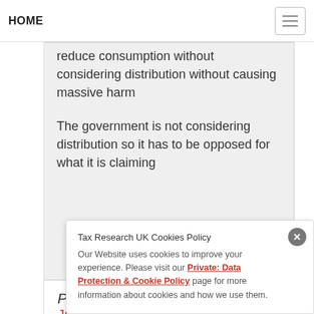HOME
reduce consumption without considering distribution without causing massive harm

The government is not considering distribution so it has to be opposed for what it is claiming
Pilgrim Slight Return says:
June 13, 2022 at 6:46 pm
Tax Research UK Cookies Policy
Our Website uses cookies to improve your experience. Please visit our Private: Data Protection & Cookie Policy page for more information about cookies and how we use them.